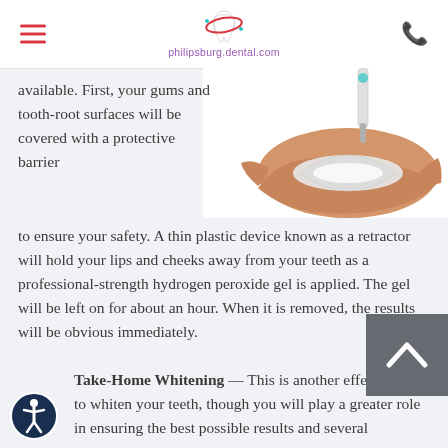philipsburg.dental.com
[Figure (photo): A hand holding a dental whitening tray while gel is applied with a syringe]
available. First, your gums and tooth-root surfaces will be covered with a protective barrier to ensure your safety. A thin plastic device known as a retractor will hold your lips and cheeks away from your teeth as a professional-strength hydrogen peroxide gel is applied. The gel will be left on for about an hour. When it is removed, the results will be obvious immediately.
Take-Home Whitening — This is another effective way to whiten your teeth, though you will play a greater role in ensuring the best possible results and several